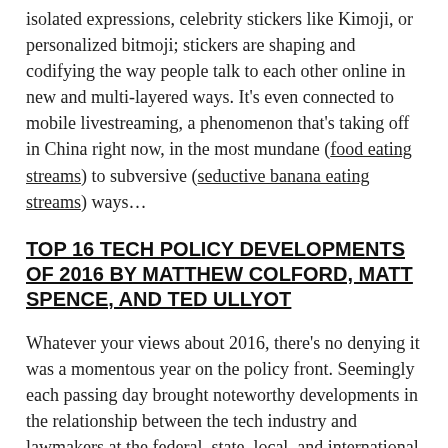isolated expressions, celebrity stickers like Kimoji, or personalized bitmoji; stickers are shaping and codifying the way people talk to each other online in new and multi-layered ways. It’s even connected to mobile livestreaming, a phenomenon that’s taking off in China right now, in the most mundane (food eating streams) to subversive (seductive banana eating streams) ways…
TOP 16 TECH POLICY DEVELOPMENTS OF 2016 BY MATTHEW COLFORD, MATT SPENCE, AND TED ULLYOT
Whatever your views about 2016, there’s no denying it was a momentous year on the policy front. Seemingly each passing day brought noteworthy developments in the relationship between the tech industry and lawmakers at the federal, state, local, and international levels. Here’s the a16z Policy